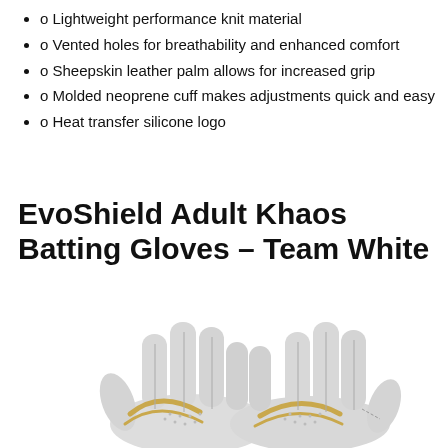o Lightweight performance knit material
o Vented holes for breathability and enhanced comfort
o Sheepskin leather palm allows for increased grip
o Molded neoprene cuff makes adjustments quick and easy
o Heat transfer silicone logo
EvoShield Adult Khaos Batting Gloves – Team White
[Figure (photo): Two white EvoShield Adult Khaos Batting Gloves shown palm-up side by side, with gold/tan accent stripes and textured leather palm surface, fingers pointing upward.]